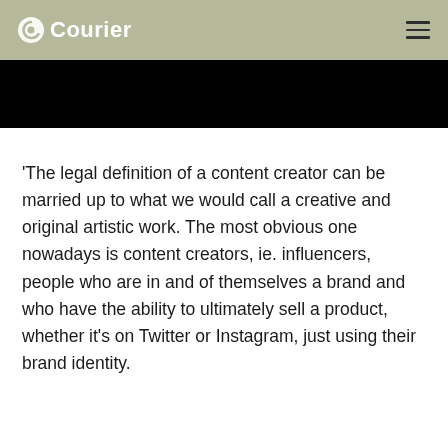Courier
'The legal definition of a content creator can be married up to what we would call a creative and original artistic work. The most obvious one nowadays is content creators, ie. influencers, people who are in and of themselves a brand and who have the ability to ultimately sell a product, whether it's on Twitter or Instagram, just using their brand identity.